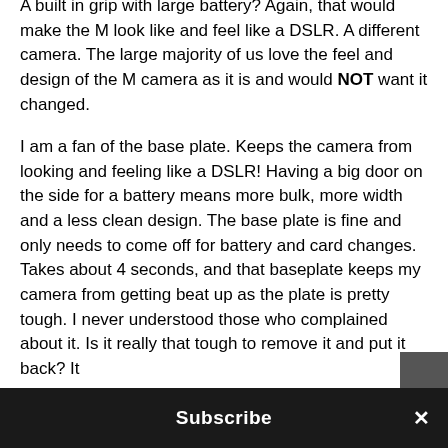A built in grip with large battery? Again, that would make the M look like and feel like a DSLR. A different camera. The large majority of us love the feel and design of the M camera as it is and would NOT want it changed.
I am a fan of the base plate. Keeps the camera from looking and feeling like a DSLR! Having a big door on the side for a battery means more bulk, more width and a less clean design. The base plate is fine and only needs to come off for battery and card changes. Takes about 4 seconds, and that baseplate keeps my camera from getting beat up as the plate is pretty tough. I never understood those who complained about it. Is it really that tough to remove it and put it back? It
Subscribe